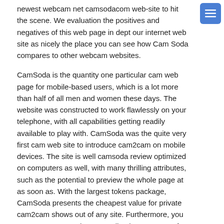newest webcam net camsodacom web-site to hit the scene. We evaluation the positives and negatives of this web page in depth our internet web site as nicely the place you can see how Cam Soda compares to other webcam websites.
CamSoda is the quantity one particular cam web page for mobile-based users, which is a lot more than half of all men and women these days. The website was constructed to work flawlessly on your telephone, with all capabilities getting readily available to play with. CamSoda was the quite very first cam web site to introduce cam2cam on mobile devices. The site is well camsoda review optimized on computers as well, with many thrilling attributes, such as the potential to preview the whole page at as soon as. With the largest tokens package, CamSoda presents the cheapest value for private cam2cam shows out of any site. Furthermore, you can get a no cost show recording in numerous of the rooms.
Camsods
Here, the performers are permitted to get completely nude and explicit in their open chats. And it really is no cost to watch them for